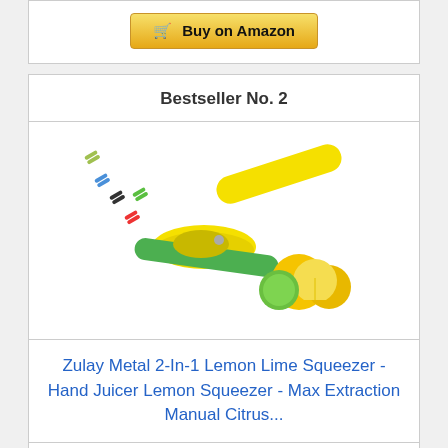Buy on Amazon
Bestseller No. 2
[Figure (photo): Zulay Metal 2-In-1 Lemon Lime Squeezer product photo showing a yellow and green metal citrus juicer with multiple color variant miniatures and lemons/limes in the background]
Zulay Metal 2-In-1 Lemon Lime Squeezer - Hand Juicer Lemon Squeezer - Max Extraction Manual Citrus...
Rating: No ratings yet